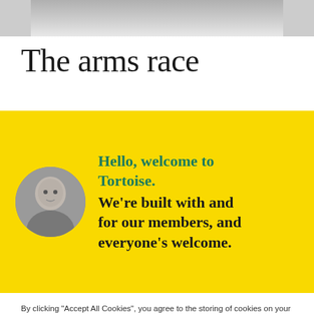[Figure (photo): Partial photo strip at top of page showing cropped image, light gray tones]
The arms race
[Figure (illustration): Yellow background promo box with circular grayscale headshot photo of a man on the left, and welcome text on the right reading: Hello, welcome to Tortoise. We're built with and for our members, and everyone's welcome.]
By clicking “Accept All Cookies”, you agree to the storing of cookies on your device to enhance site navigation, analyze site usage, and assist in our marketing efforts.